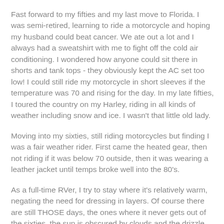Fast forward to my fifties and my last move to Florida. I was semi-retired, learning to ride a motorcycle and hoping my husband could beat cancer. We ate out a lot and I always had a sweatshirt with me to fight off the cold air conditioning. I wondered how anyone could sit there in shorts and tank tops - they obviously kept the AC set too low! I could still ride my motorcycle in short sleeves if the temperature was 70 and rising for the day. In my late fifties, I toured the country on my Harley, riding in all kinds of weather including snow and ice. I wasn't that little old lady.
Moving into my sixties, still riding motorcycles but finding I was a fair weather rider. First came the heated gear, then not riding if it was below 70 outside, then it was wearing a leather jacket until temps broke well into the 80's.
As a full-time RVer, I try to stay where it's relatively warm, negating the need for dressing in layers. Of course there are still THOSE days, the ones where it never gets out of the sixties, the sun is obscured by clouds and the drizzle makes it colder and damper.